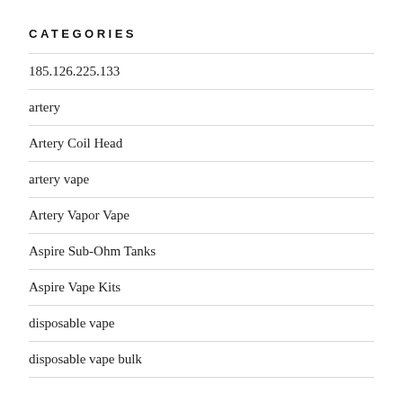CATEGORIES
185.126.225.133
artery
Artery Coil Head
artery vape
Artery Vapor Vape
Aspire Sub-Ohm Tanks
Aspire Vape Kits
disposable vape
disposable vape bulk